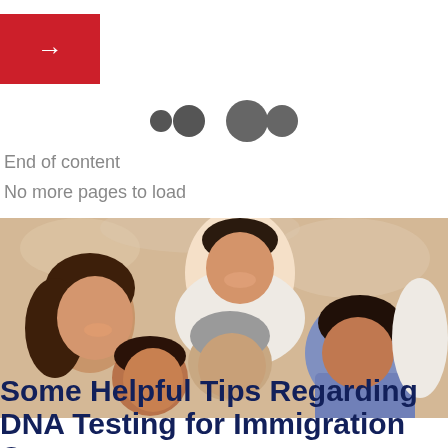[Figure (other): Red button with white right arrow]
[Figure (other): Three overlapping grey circles indicating loading or pagination dots]
End of content
No more pages to load
[Figure (photo): A smiling multi-generational family lying together on the floor, consisting of a man, woman, elderly woman, and two children]
Some Helpful Tips Regarding DNA Testing for Immigration Cases